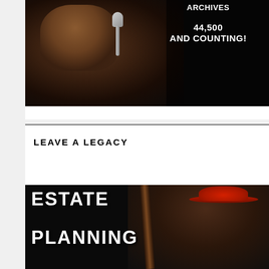[Figure (photo): Black and white photo of a woman singing into a microphone against a dark background, with white bold text overlay reading ARCHIVES and 44,500 AND COUNTING!]
LEAVE A LEGACY
[Figure (photo): Dark background photo of a woman wearing a red hat and smiling, with a guitar visible, and white bold text overlay reading ESTATE PLANNING]